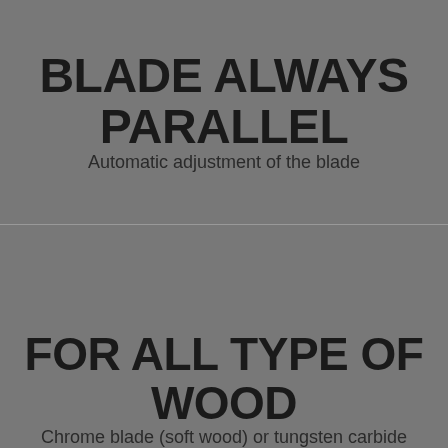BLADE ALWAYS PARALLEL
Automatic adjustment of the blade
FOR ALL TYPE OF WOOD
Chrome blade (soft wood) or tungsten carbide